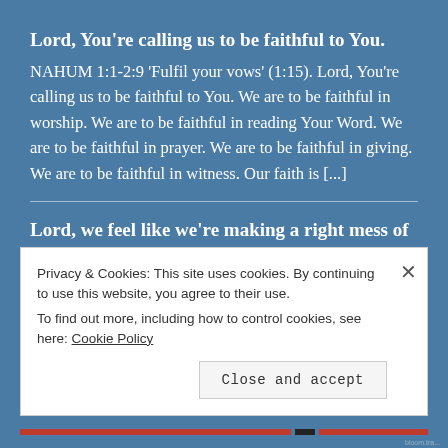Lord, You're calling us to be faithful to You.
NAHUM 1:1-2:9 'Fulfil your vows' (1:15). Lord, You're calling us to be faithful to You. We are to be faithful in worship. We are to be faithful in reading Your Word. We are to be faithful in prayer. We are to be faithful in giving. We are to be faithful in witness. Our faith is [...]
Lord, we feel like we're making a right mess of things.
Lord, we feel like we're making a right mess of things. Everything's going wrong. This is the story of today's world. It's not just everybody else's story. It's our story.
Privacy & Cookies: This site uses cookies. By continuing to use this website, you agree to their use.
To find out more, including how to control cookies, see here: Cookie Policy